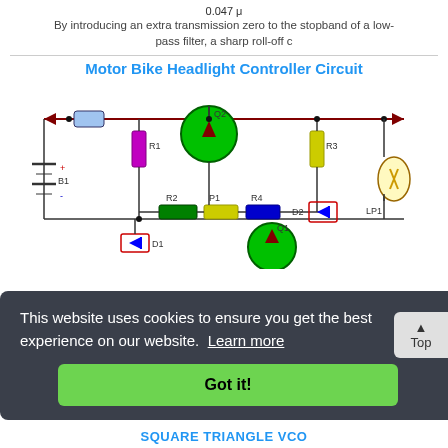0.047 μ
By introducing an extra transmission zero to the stopband of a low-pass filter, a sharp roll-off c
Motor Bike Headlight Controller Circuit
[Figure (circuit-diagram): Motor Bike Headlight Controller Circuit schematic showing battery B1, resistors R1, R2, R3, R4, diodes D1, D2, transistors Q1, Q2, potentiometer P1, and lamp LP1 connected in a circuit]
This website uses cookies to ensure you get the best experience on our website. Learn more
Got it!
nd off,
SQUARE TRIANGLE VCO